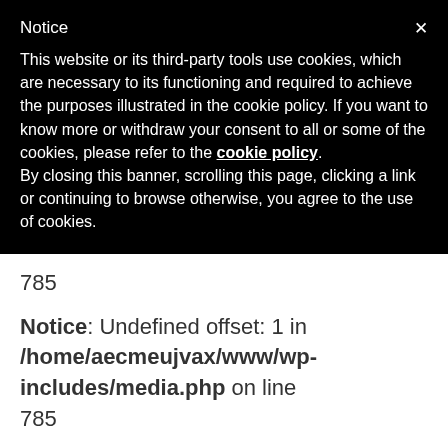Notice
This website or its third-party tools use cookies, which are necessary to its functioning and required to achieve the purposes illustrated in the cookie policy. If you want to know more or withdraw your consent to all or some of the cookies, please refer to the cookie policy.
By closing this banner, scrolling this page, clicking a link or continuing to browse otherwise, you agree to the use of cookies.
785
Notice: Undefined offset: 1 in /home/aecmeujvax/www/wp-includes/media.php on line 785
Notice: Undefined offset: 0 in /home/aecmeujvax/www/wp-includes/media.php on line